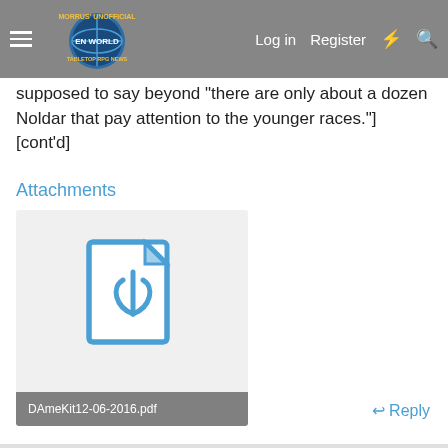Morrus' Unofficial Tabletop RPG News — Log in | Register
supposed to say beyond "there are only about a dozen Noldar that pay attention to the younger races."] [cont'd]
Attachments
[Figure (other): PDF file attachment thumbnail showing a PDF document icon (blue document icon with Acrobat-style symbol). File name: DAmeKit12-06-2016.pdf]
↩ Reply